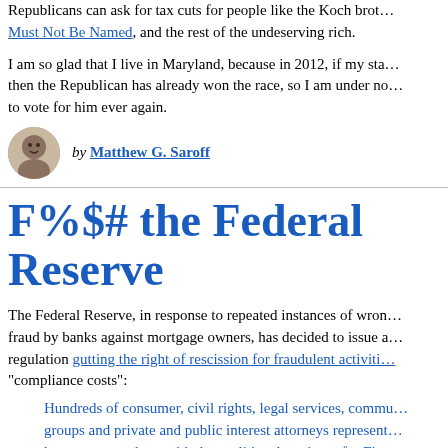Republicans can ask for tax cuts for people like the Koch brothers, He Who Must Not Be Named, and the rest of the undeserving rich.
I am so glad that I live in Maryland, because in 2012, if my state goes red, then the Republican has already won the race, so I am under no obligation to vote for him ever again.
by Matthew G. Saroff
F%$# the Federal Reserve
The Federal Reserve, in response to repeated instances of wrongdoing and fraud by banks against mortgage owners, has decided to issue a proposed regulation gutting the right of rescission for fraudulent activities to reduce "compliance costs":
Hundreds of consumer, civil rights, legal services, community groups and private and public interest attorneys representing homeowners, along with the coalition Americans for Financial urged the Federal Reserve Board to withdraw a proposed